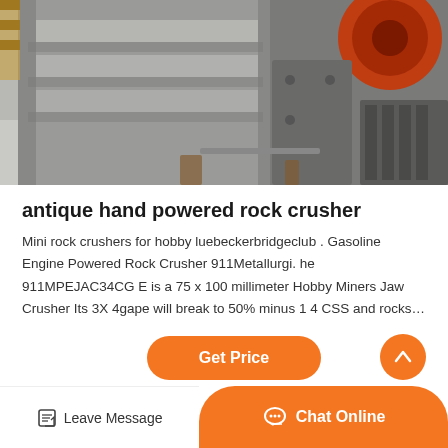[Figure (photo): Industrial rock crusher machine photographed in a warehouse/factory setting. The machine is large, metal grey in color, with visible structural components, shelves or plates on the left side, and an orange wheel visible on the upper right. The floor is concrete.]
antique hand powered rock crusher
Mini rock crushers for hobby luebeckerbridgeclub . Gasoline Engine Powered Rock Crusher 911Metallurgi. he 911MPEJAC34CG E is a 75 x 100 millimeter Hobby Miners Jaw Crusher Its 3X 4gape will break to 50% minus 1 4 CSS and rocks…
Get Price
Leave Message
Chat Online